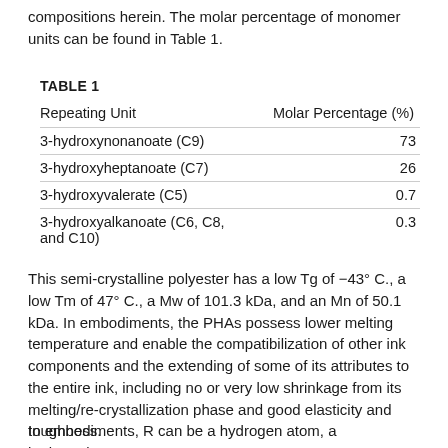compositions herein. The molar percentage of monomer units can be found in Table 1.
TABLE 1
| Repeating Unit | Molar Percentage (%) |
| --- | --- |
| 3-hydroxynonanoate (C9) | 73 |
| 3-hydroxyheptanoate (C7) | 26 |
| 3-hydroxyvalerate (C5) | 0.7 |
| 3-hydroxyalkanoate (C6, C8, and C10) | 0.3 |
This semi-crystalline polyester has a low Tg of −43° C., a low Tm of 47° C., a Mw of 101.3 kDa, and an Mn of 50.1 kDa. In embodiments, the PHAs possess lower melting temperature and enable the compatibilization of other ink components and the extending of some of its attributes to the entire ink, including no or very low shrinkage from its melting/re-crystallization phase and good elasticity and toughness.
In embodiments, R can be a hydrogen atom, a hydrocarbon group, a heteroatom, and n is the number of repeating units